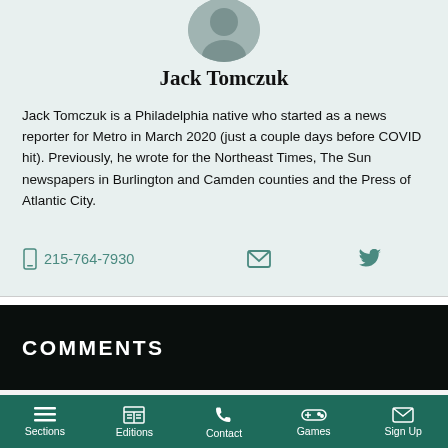[Figure (photo): Circular profile photo of Jack Tomczuk, partially cropped at top]
Jack Tomczuk
Jack Tomczuk is a Philadelphia native who started as a news reporter for Metro in March 2020 (just a couple days before COVID hit). Previously, he wrote for the Northeast Times, The Sun newspapers in Burlington and Camden counties and the Press of Atlantic City.
215-764-7930
COMMENTS
Sections | Editions | Contact | Games | Sign Up